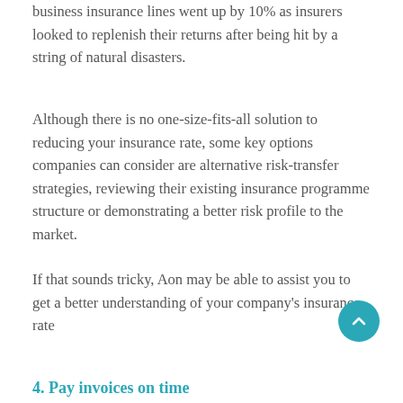In 2018 Aon study, rates across the majority of its business insurance lines went up by 10% as insurers looked to replenish their returns after being hit by a string of natural disasters.
Although there is no one-size-fits-all solution to reducing your insurance rate, some key options companies can consider are alternative risk-transfer strategies, reviewing their existing insurance programme structure or demonstrating a better risk profile to the market.
If that sounds tricky, Aon may be able to assist you to get a better understanding of your company’s insurance rate
4. Pay invoices on time